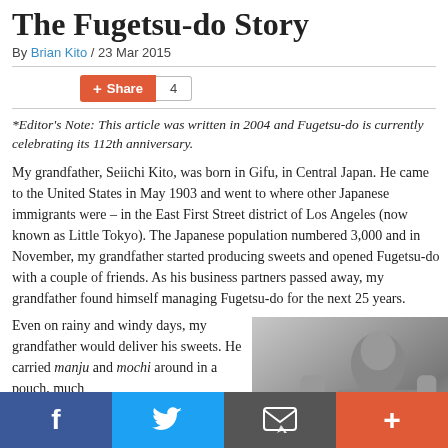The Fugetsu-do Story
By Brian Kito / 23 Mar 2015
Share 4
*Editor's Note: This article was written in 2004 and Fugetsu-do is currently celebrating its 112th anniversary.
My grandfather, Seiichi Kito, was born in Gifu, in Central Japan. He came to the United States in May 1903 and went to where other Japanese immigrants were – in the East First Street district of Los Angeles (now known as Little Tokyo). The Japanese population numbered 3,000 and in November, my grandfather started producing sweets and opened Fugetsu-do with a couple of friends. As his business partners passed away, my grandfather found himself managing Fugetsu-do for the next 25 years.
Even on rainy and windy days, my grandfather would deliver his sweets. He carried manju and mochi around in a pouch, much
[Figure (photo): Black and white photograph of a person, likely historical, appearing to be working or writing at a desk.]